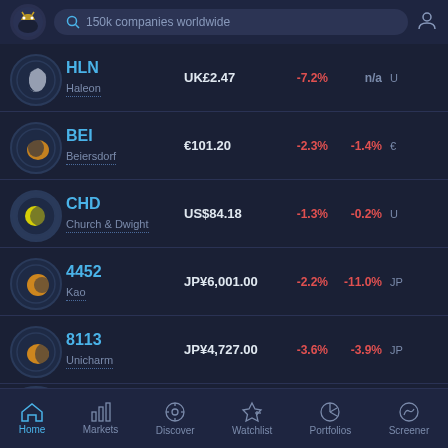[Figure (screenshot): Stock market app top navigation bar with logo, search field '150k companies worldwide', and user icon]
HLN Haleon UK£2.47 -7.2% n/a
BEI Beiersdorf €101.20 -2.3% -1.4%
CHD Church & Dwight US$84.18 -1.3% -0.2%
4452 Kao JP¥6,001.00 -2.2% -11.0%
8113 Unicharm JP¥4,727.00 -3.6% -3.9%
Home | Markets | Discover | Watchlist | Portfolios | Screener